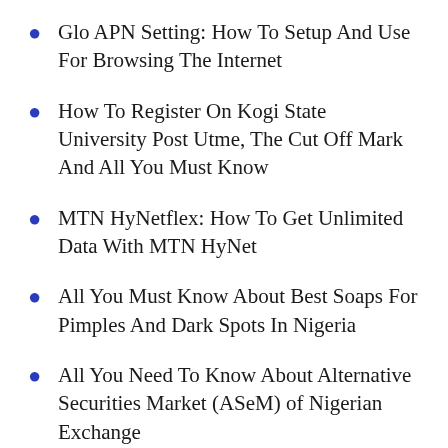Glo APN Setting: How To Setup And Use For Browsing The Internet
How To Register On Kogi State University Post Utme, The Cut Off Mark And All You Must Know
MTN HyNetflex: How To Get Unlimited Data With MTN HyNet
All You Must Know About Best Soaps For Pimples And Dark Spots In Nigeria
All You Need To Know About Alternative Securities Market (ASeM) of Nigerian Exchange
Categories